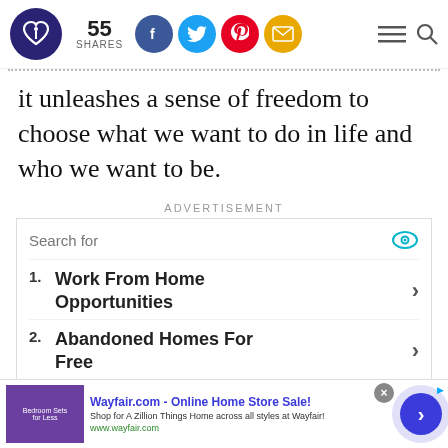55 SHARES — social share bar with logo
it unleashes a sense of freedom to choose what we want to do in life and who we want to be.
ADVERTISEMENT
[Figure (screenshot): Advertisement search widget with eye icon, showing 'Search for' field and two list items: 1. Work From Home Opportunities, 2. Abandoned Homes For Free]
[Figure (screenshot): Bottom banner ad for Wayfair.com - Online Home Store Sale! Shop for A Zillion Things Home across all styles at Wayfair! www.wayfair.com, with close X button and navigation arrow]